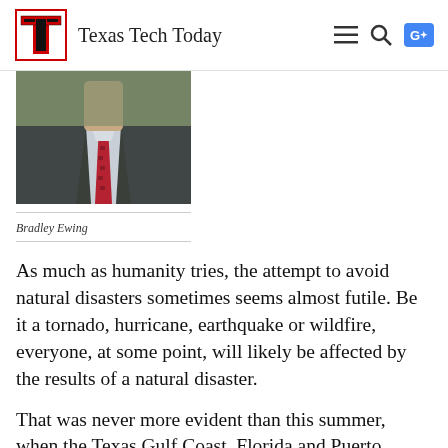Texas Tech Today
[Figure (photo): Photo of Bradley Ewing, a man in a dark suit jacket with a red patterned tie and white dress shirt, cropped at chest level]
Bradley Ewing
As much as humanity tries, the attempt to avoid natural disasters sometimes seems almost futile. Be it a tornado, hurricane, earthquake or wildfire, everyone, at some point, will likely be affected by the results of a natural disaster.
That was never more evident than this summer, when the Texas Gulf Coast, Florida and Puerto